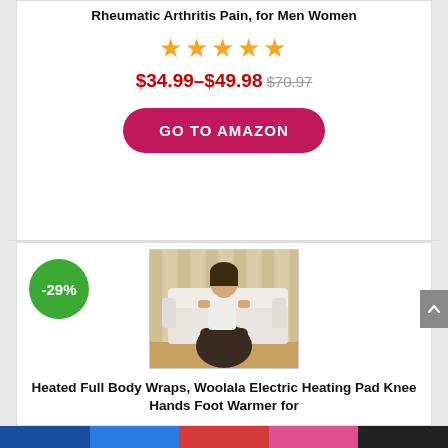Rheumatic Arthritis Pain, for Men Women
[Figure (illustration): Five gold/orange star rating icons]
$34.99–$49.98 $70.97
GO TO AMAZON
[Figure (photo): Woman sitting on white sofa wearing a dark heated body wrap around her lower body, with wood floor background. Green badge showing -29% discount.]
Heated Full Body Wraps, Woolala Electric Heating Pad Knee Hands Foot Warmer for